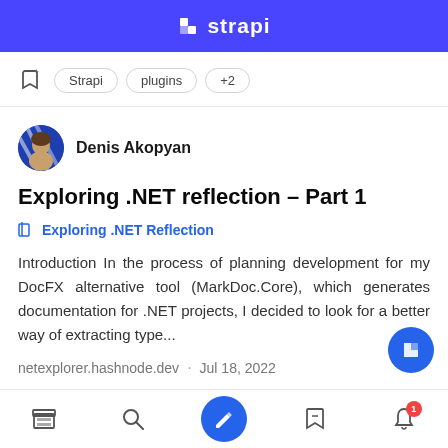[Figure (logo): Strapi logo banner - purple background with Strapi text and icon]
Strapi   plugins   +2
Denis Akopyan
Exploring .NET reflection – Part 1
Exploring .NET Reflection
Introduction In the process of planning development for my DocFX alternative tool (MarkDoc.Core), which generates documentation for .NET projects, I decided to look for a better way of extracting type...
netexplorer.hashnode.dev · Jul 18, 2022
Home Search Write Bookmarks Notifications 1